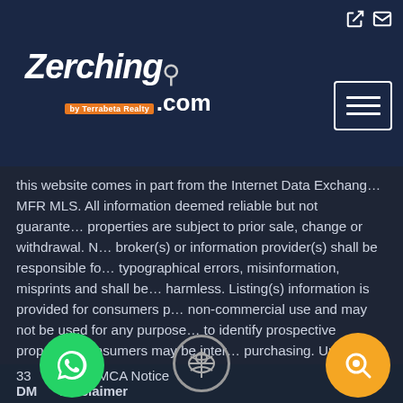[Figure (logo): Zerching.com by Terrabeta Realty logo in white italic font on dark navy background with search icon]
this website comes in part from the Internet Data Exchange (IDX) of MFR MLS. All information deemed reliable but not guaranteed. All properties are subject to prior sale, change or withdrawal. Neither broker(s) or information provider(s) shall be responsible for any typographical errors, misinformation, misprints and shall be held harmless. Listing(s) information is provided for consumers personal, non-commercial use and may not be used for any purpose other than to identify prospective properties consumers may be interested in purchasing. Updated on August 31, 2022 3:22 PM UTC
33 ... red DMCA Notice
DMCA Disclaimer
The Digital Millennium Copyright Act of 1998, 17 U.S.C. §512...